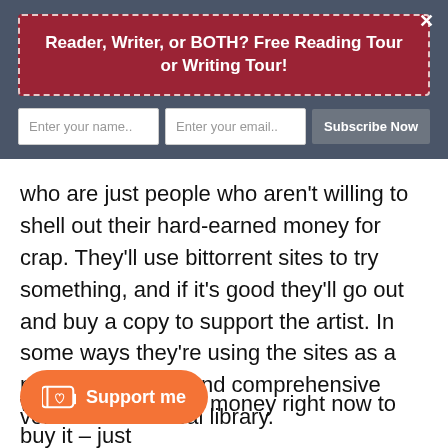Reader, Writer, or BOTH? Free Reading Tour or Writing Tour!
who are just people who aren't willing to shell out their hard-earned money for crap. They'll use bittorrent sites to try something, and if it's good they'll go out and buy a copy to support the artist. In some ways they're using the sites as a more convenient and comprehensive version of the local library.
people sampling a product who don't have the money right now to buy it – just